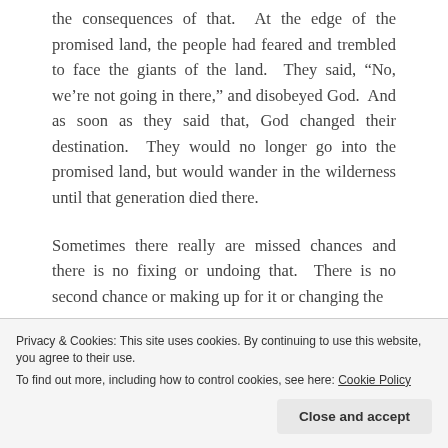the consequences of that.  At the edge of the promised land, the people had feared and trembled to face the giants of the land.  They said, “No, we’re not going in there,” and disobeyed God.  And as soon as they said that, God changed their destination.  They would no longer go into the promised land, but would wander in the wilderness until that generation died there.
Sometimes there really are missed chances and there is no fixing or undoing that.  There is no second chance or making up for it or changing the
Privacy & Cookies: This site uses cookies. By continuing to use this website, you agree to their use.
To find out more, including how to control cookies, see here: Cookie Policy